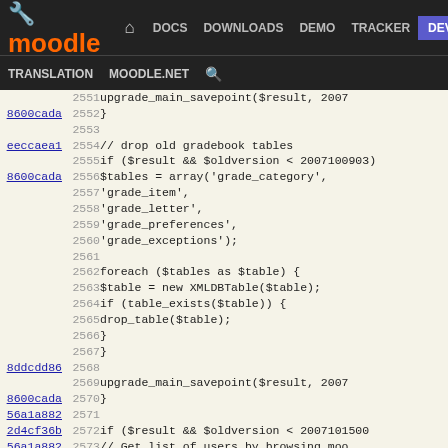Moodle DEV - Navigation: DOCS DOWNLOADS DEMO TRACKER DEV | TRANSLATION MOODLE.NET
[Figure (screenshot): Moodle developer site navigation bar with logo, nav links (DOCS, DOWNLOADS, DEMO, TRACKER, DEV highlighted in blue), and secondary links (TRANSLATION, MOODLE.NET, search icon)]
Code viewer showing PHP lines 2551-2577 from a Moodle upgrade script. Lines include upgrade_main_savepoint, drop old gradebook tables (grade_category, grade_item, grade_letter, grade_preferences, grade_exceptions), foreach loop with XMLDBTable and drop_table calls, upgrade_main_savepoint, and start of new if block for version 2007101500 with get_directory_list.